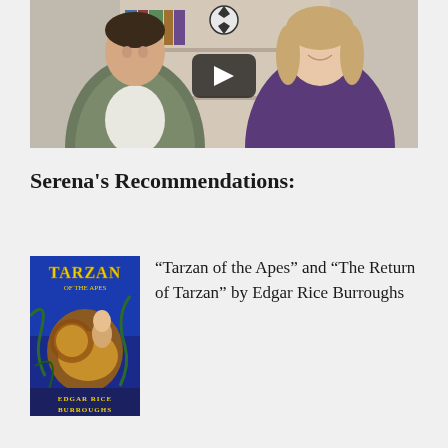[Figure (screenshot): Video thumbnail showing two young people sitting in front of a bookshelf. A play button overlay is centered on the image.]
Serena’s Recommendations:
[Figure (photo): Book cover of 'Tarzan of the Apes' by Edgar Rice Burroughs — blue background with illustrated characters and bold stylized title text.]
“Tarzan of the Apes” and “The Return of Tarzan” by Edgar Rice Burroughs